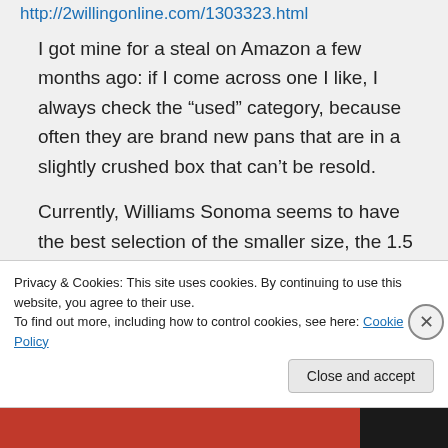http://2willingonline.com/1303323.html
I got mine for a steal on Amazon a few months ago: if I come across one I like, I always check the “used” category, because often they are brand new pans that are in a slightly crushed box that can’t be resold.
Currently, Williams Sonoma seems to have the best selection of the smaller size, the 1.5 qt/9.5 in but you may be able to find the larger size in stores. Good luck!
Privacy & Cookies: This site uses cookies. By continuing to use this website, you agree to their use.
To find out more, including how to control cookies, see here: Cookie Policy